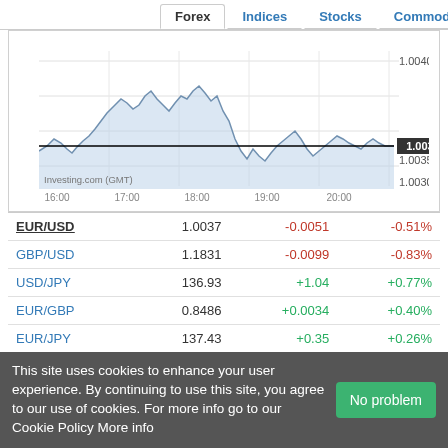Forex | Indices | Stocks | Commodities
[Figure (continuous-plot): EUR/USD intraday line chart from 16:00 to 20:00 GMT, showing price fluctuations around 1.0037, with current value highlighted at 1.0037. Y-axis labels: 1.0040, 1.0037, 1.0035, 1.0030. X-axis labels: 16:00, 17:00, 18:00, 19:00, 20:00. Source: Investing.com (GMT).]
| Pair | Price | Change | Change% |
| --- | --- | --- | --- |
| EUR/USD | 1.0037 | -0.0051 | -0.51% |
| GBP/USD | 1.1831 | -0.0099 | -0.83% |
| USD/JPY | 136.93 | +1.04 | +0.77% |
| EUR/GBP | 0.8486 | +0.0034 | +0.40% |
| EUR/JPY | 137.43 | +0.35 | +0.26% |
| USD/CNY | 6.8171 | +0.0310 | +0.46% |
| AUD/USD | 0.6873 | -0.0046 | -0.66% |
Read More
This site uses cookies to enhance your user experience. By continuing to use this site, you agree to our use of cookies. For more info go to our Cookie Policy More info
No problem